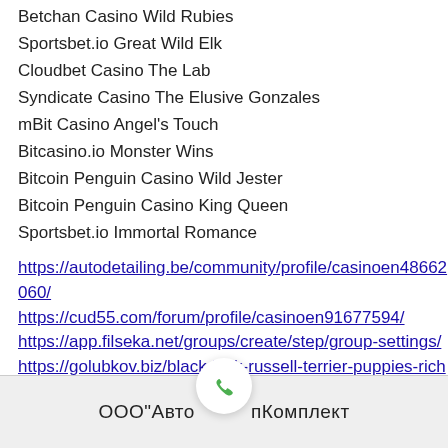Betchan Casino Wild Rubies
Sportsbet.io Great Wild Elk
Cloudbet Casino The Lab
Syndicate Casino The Elusive Gonzales
mBit Casino Angel's Touch
Bitcasino.io Monster Wins
Bitcoin Penguin Casino Wild Jester
Bitcoin Penguin Casino King Queen
Sportsbet.io Immortal Romance
https://autodetailing.be/community/profile/casinoen48662060/
https://cud55.com/forum/profile/casinoen91677594/
https://app.filseka.net/groups/create/step/group-settings/
https://golubkov.biz/black-jack-russell-terrier-puppies-rich-girl-casino-game/
ООО"Авто...пКомплект